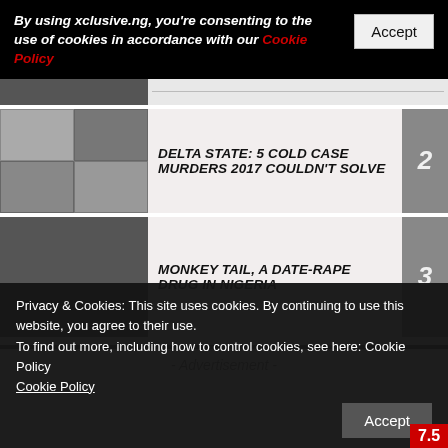By using xclusive.ng, you're consenting to the use of cookies in accordance with our Cookie Policy
DELTA STATE: 5 COLD CASE MURDERS 2017 COULDN'T SOLVE
MONKEY TAIL, A DATE-RAPE DRUG IN NIGERIA
- Advertisement -
Privacy & Cookies: This site uses cookies. By continuing to use this website, you agree to their use.
To find out more, including how to control cookies, see here: Cookie Policy
Cookie Policy